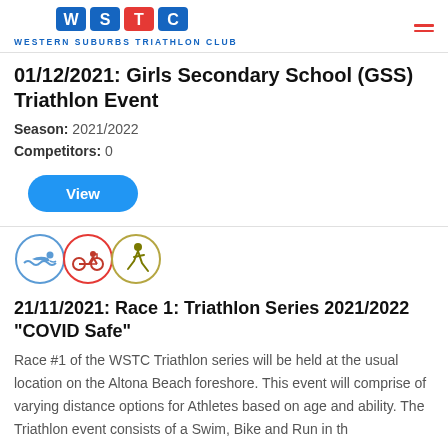WESTERN SUBURBS TRIATHLON CLUB
01/12/2021: Girls Secondary School (GSS) Triathlon Event
Season: 2021/2022
Competitors: 0
[Figure (illustration): View button - blue rounded rectangle]
[Figure (illustration): Three sport icons: swimming, cycling, running in circles]
21/11/2021: Race 1: Triathlon Series 2021/2022 "COVID Safe"
Race #1 of the WSTC Triathlon series will be held at the usual location on the Altona Beach foreshore. This event will comprise of varying distance options for Athletes based on age and ability. The Triathlon event consists of a Swim, Bike and Run in th
Season: 2021/2022
Competitors: 0